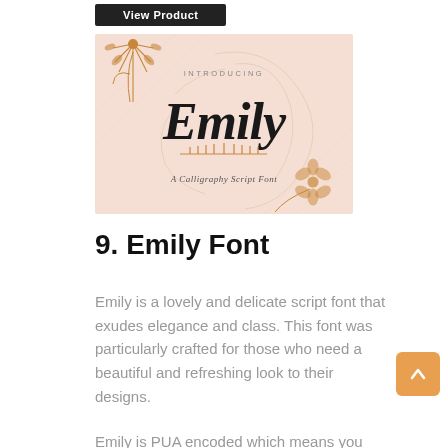[Figure (illustration): Promotional image for Emily Font — a calligraphy script font. Peach/pink background with decorative orange line-art flowers and leaves. Text reads 'INTRODUCING' at top, large script 'Emily' in the center, a wheat/grain decorative element below it, and 'A Calligraphy Script Font' at the bottom.]
9. Emily Font
Emily is a lovely and delicate script font that exudes elegance and class. This font was particularly crafted for those who need a beautiful and refreshing look to their designs.
Emily is PUA encoded which means you can